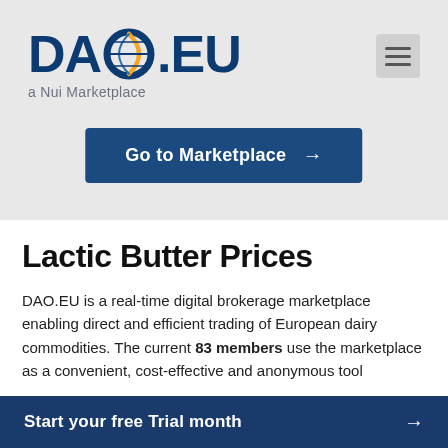[Figure (logo): DAO.EU logo with circular globe icon and tagline 'a Nui Marketplace']
Go to Marketplace →
Lactic Butter Prices
DAO.EU is a real-time digital brokerage marketplace enabling direct and efficient trading of European dairy commodities. The current 83 members use the marketplace as a convenient, cost-effective and anonymous tool
Start your free Trial month →